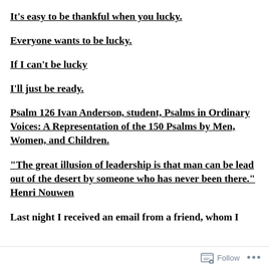It's easy to be thankful when you lucky.
Everyone wants to be lucky.
If I can't be lucky
I'll just be ready.
Psalm 126 Ivan Anderson, student, Psalms in Ordinary Voices: A Representation of the 150 Psalms by Men, Women, and Children.
“The great illusion of leadership is that man can be lead out of the desert by someone who has never been there.” Henri Nouwen
Last night I received an email from a friend, whom I
Follow